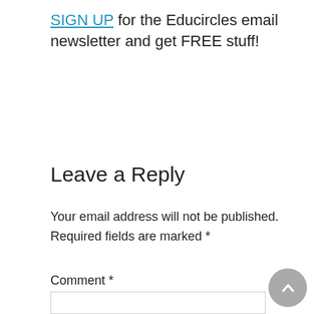SIGN UP for the Educircles email newsletter and get FREE stuff!
Leave a Reply
Your email address will not be published. Required fields are marked *
Comment *